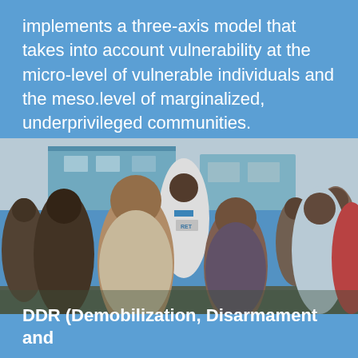implements a three-axis model that takes into account vulnerability at the micro-level of vulnerable individuals and the meso.level of marginalized, underprivileged communities.
[Figure (photo): Group of young men and boys standing outdoors in front of a blue building. A man in a white RET polo shirt stands in the center background. Two boys are prominent in the foreground.]
DDR (Demobilization, Disarmament and